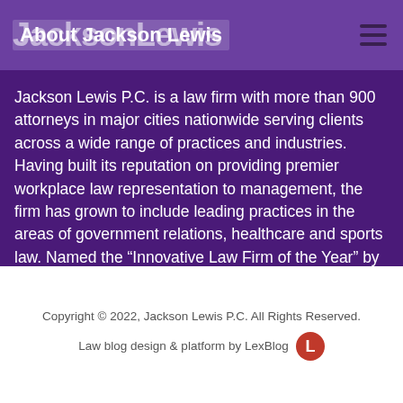Jackson Lewis
About Jackson Lewis
Jackson Lewis P.C. is a law firm with more than 900 attorneys in major cities nationwide serving clients across a wide range of practices and industries. Having built its reputation on providing premier workplace law representation to management, the firm has grown to include leading practices in the areas of government relations, healthcare and sports law. Named the “Innovative Law Firm of the Year” by the International Legal Technology Association, the firm’s commitment to client service and depth of expertise draws clients to Jackson Lewis for excellent value-driven legal advice.
Copyright © 2022, Jackson Lewis P.C. All Rights Reserved.
Law blog design & platform by LexBlog